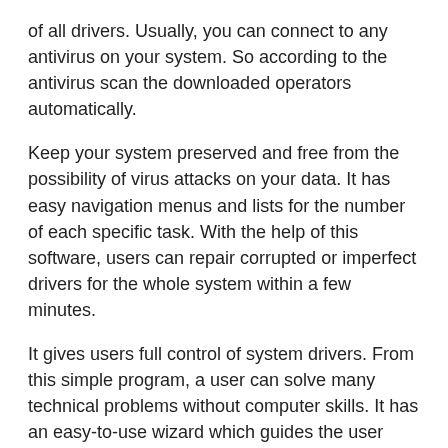of all drivers. Usually, you can connect to any antivirus on your system. So according to the antivirus scan the downloaded operators automatically.
Keep your system preserved and free from the possibility of virus attacks on your data. It has easy navigation menus and lists for the number of each specific task. With the help of this software, users can repair corrupted or imperfect drivers for the whole system within a few minutes.
It gives users full control of system drivers. From this simple program, a user can solve many technical problems without computer skills. It has an easy-to-use wizard which guides the user through all the procedures.
This software improves PC performance with the powerful Windows Driver Manager that automatically backs up, restores, and updates your device drivers with